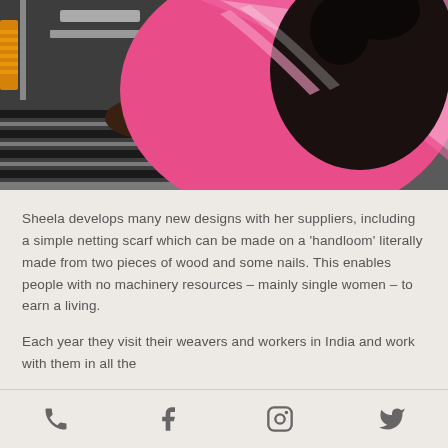[Figure (photo): A woman wearing a bright pink and white traditional outfit working at a weaving loom, with dark curly hair, photographed from the side/back.]
Sheela develops many new designs with her suppliers, including a simple netting scarf which can be made on a ‘handloom’ literally made from two pieces of wood and some nails. This enables people with no machinery resources – mainly single women – to earn a living.
Each year they visit their weavers and workers in India and work with them in all the
[Figure (other): Footer bar with four social/contact icons: phone, Facebook, Instagram, Twitter]